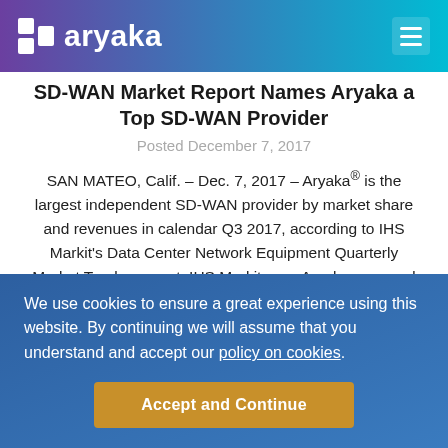aryaka
SD-WAN Market Report Names Aryaka a Top SD-WAN Provider
Posted December 7, 2017
SAN MATEO, Calif. – Dec. 7, 2017 – Aryaka® is the largest independent SD-WAN provider by market share and revenues in calendar Q3 2017, according to IHS Markit's Data Center Network Equipment Quarterly Market Tracker report. IHS Markit says Aryaka garnered an 18 percent share of the global SD-WAN market in Q3 2017 (after excluding […]
Read Press Release ›
We use cookies to ensure a great experience using this website. By continuing we will assume that you understand and accept our policy on cookies.
Accept and Continue